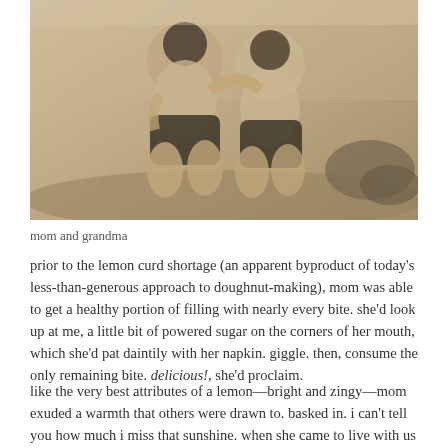[Figure (photo): Sepia-toned vintage photograph of a mother and grandmother sitting together outdoors on the ground, wearing dark shorts, embracing or playing together.]
mom and grandma
prior to the lemon curd shortage (an apparent byproduct of today’s less-than-generous approach to doughnut-making), mom was able to get a healthy portion of filling with nearly every bite. she’d look up at me, a little bit of powered sugar on the corners of her mouth, which she’d pat daintily with her napkin. giggle. then, consume the only remaining bite. delicious!, she’d proclaim.
like the very best attributes of a lemon—bright and zingy—mom exuded a warmth that others were drawn to. basked in. i can’t tell you how much i miss that sunshine. when she came to live with us in the latter part of her life, i’d occasionally trot home with lemon-